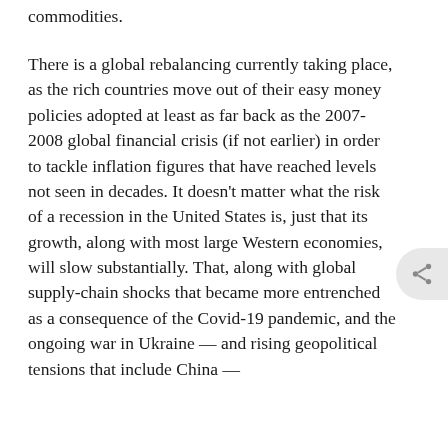commodities.
There is a global rebalancing currently taking place, as the rich countries move out of their easy money policies adopted at least as far back as the 2007-2008 global financial crisis (if not earlier) in order to tackle inflation figures that have reached levels not seen in decades. It doesn't matter what the risk of a recession in the United States is, just that its growth, along with most large Western economies, will slow substantially. That, along with global supply-chain shocks that became more entrenched as a consequence of the Covid-19 pandemic, and the ongoing war in Ukraine — and rising geopolitical tensions that include China —